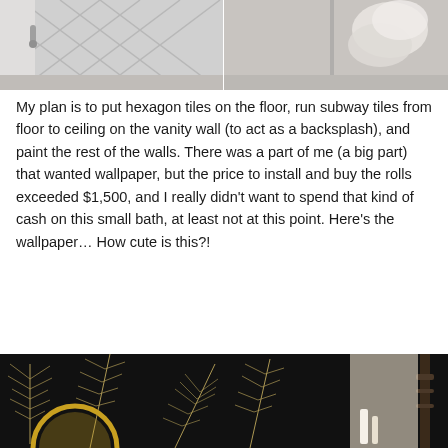[Figure (photo): Two-panel photo showing a bathroom interior under renovation: left panel shows a wall with a chevron/herringbone pattern and a door handle; right panel shows a corner of the bathroom with loose paper/plastic material bunched in the corner.]
My plan is to put hexagon tiles on the floor, run subway tiles from floor to ceiling on the vanity wall (to act as a backsplash), and paint the rest of the walls. There was a part of me (a big part) that wanted wallpaper, but the price to install and buy the rolls exceeded $1,500, and I really didn't want to spend that kind of cash on this small bath, at least not at this point. Here's the wallpaper… How cute is this?!
[Figure (photo): Photo showing dark black wallpaper with gold/white botanical leaf and pine branch patterns, with a round gold mirror partially visible and a dark lamp or candlestick on the right side.]